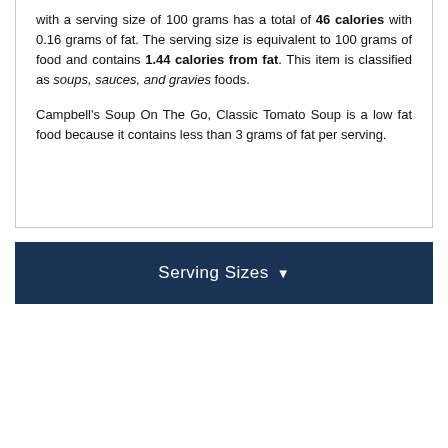Campbell's Soup On The Go, Classic Tomato Soup with a serving size of 100 grams has a total of 46 calories with 0.16 grams of fat. The serving size is equivalent to 100 grams of food and contains 1.44 calories from fat. This item is classified as soups, sauces, and gravies foods.

Campbell's Soup On The Go, Classic Tomato Soup is a low fat food because it contains less than 3 grams of fat per serving.
Serving Sizes